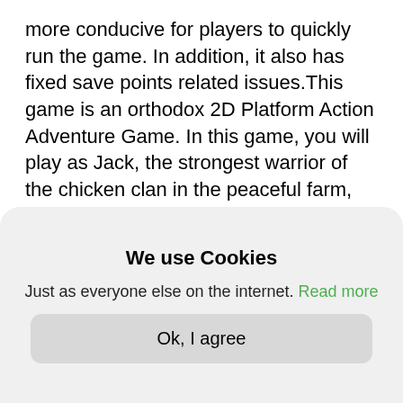more conducive for players to quickly run the game. In addition, it also has fixed save points related issues.This game is an orthodox 2D Platform Action Adventure Game. In this game, you will play as Jack, the strongest warrior of the chicken clan in the peaceful farm, run through the huge levels, defeating powerful enemies to rescue chicks from the distance.●This game is challenging. It is true that the world is cruel. No one can casually succeed. Only by defying hardships and dangers, moving forward courageously, and patiently bursting toward the goal can the ideal be achieved.
We use Cookies
Just as everyone else on the internet. Read more
Ok, I agree